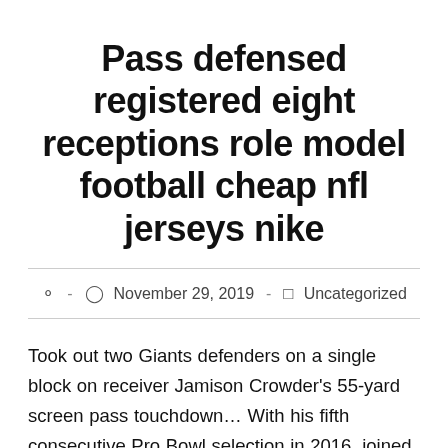Pass defensed registered eight receptions role model football cheap nfl jerseys nike
– November 29, 2019 – Uncategorized
Took out two Giants defenders on a single block on receiver Jamison Crowder's 55-yard screen pass touchdown… With his fifth consecutive Pro Bowl selection in 2016, joined Pro Football Hall of Fame safety Ken Houston and Pro Football Hall of Fame linebacker Chris Hanburger as the only